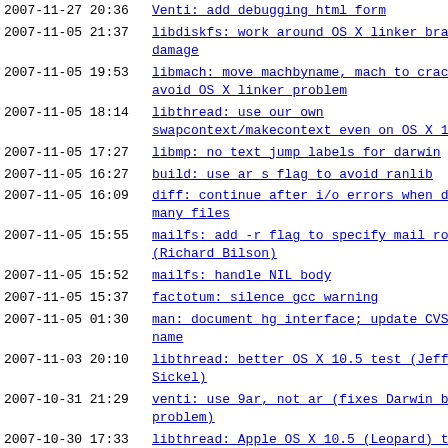2007-11-27 20:36  Venti: add debugging html form
2007-11-05 21:37  libdiskfs: work around OS X linker bra... damage
2007-11-05 19:53  libmach: move machbyname, mach to crac... avoid OS X linker problem
2007-11-05 18:14  libthread: use our own swapcontext/makecontext even on OS X 1
2007-11-05 17:27  libmp: no text jump labels for darwin
2007-11-05 16:27  build: use ar s flag to avoid ranlib
2007-11-05 16:09  diff: continue after i/o errors when d... many files
2007-11-05 15:55  mailfs: add -r flag to specify mail ro... (Richard Bilson)
2007-11-05 15:52  mailfs: handle NIL body
2007-11-05 15:37  factotum: silence gcc warning
2007-11-05 01:30  man: document hg interface; update CVS... name
2007-11-03 20:10  libthread: better OS X 10.5 test (Jeff... Sickel)
2007-10-31 21:29  venti: use 9ar, not ar (fixes Darwin b... problem)
2007-10-30 17:33  libthread: Apple OS X 10.5 (Leopard) t... (Jeff Sickel, Bakul Shah)
2007-10-29 18:33  venti: fix sync deadlock, add /proc st
2007-10-29 14:34  grap: fclose, error context bug fixes ... Gwyn)
2007-10-12 16:56  srv: add -n flag to reject auth by cli
2007-10-12 16:55  9pserve: add -n flag to reject auth by